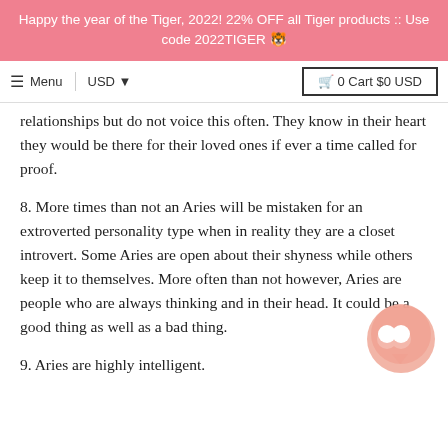Happy the year of the Tiger, 2022! 22% OFF all Tiger products :: Use code 2022TIGER 🐯
≡ Menu  USD ▼  🛒 0 Cart $0 USD
relationships but do not voice this often. They know in their heart they would be there for their loved ones if ever a time called for proof.
8. More times than not an Aries will be mistaken for an extroverted personality type when in reality they are a closet introvert. Some Aries are open about their shyness while others keep it to themselves. More often than not however, Aries are people who are always thinking and in their head. It could be a good thing as well as a bad thing.
9. Aries are highly intelligent.